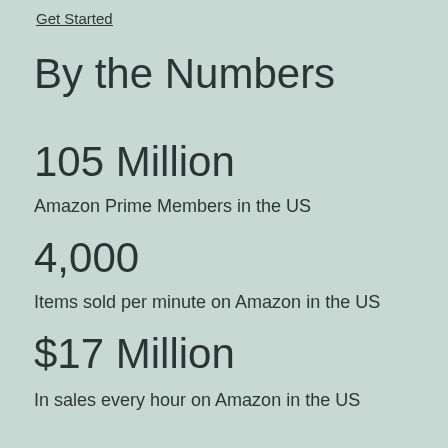Get Started
By the Numbers
105 Million
Amazon Prime Members in the US
4,000
Items sold per minute on Amazon in the US
$17 Million
In sales every hour on Amazon in the US